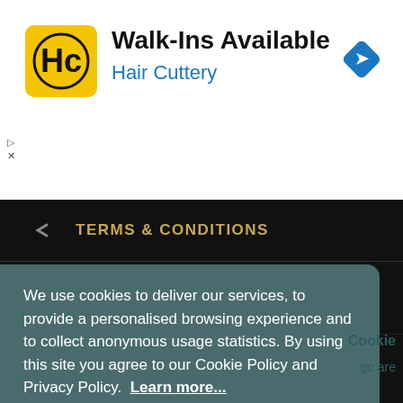[Figure (screenshot): Hair Cuttery advertisement banner with yellow HC logo, title 'Walk-Ins Available', subtitle 'Hair Cuttery', and a blue navigation arrow icon on the right]
TERMS & CONDITIONS
PRIVACY POLICY
COOKIE POLICY
We use cookies to deliver our services, to provide a personalised browsing experience and to collect anonymous usage statistics. By using this site you agree to our Cookie Policy and Privacy Policy.  Learn more...
Got it!